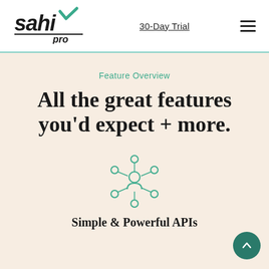[Figure (logo): Sahi Pro logo — black italic stylized text with teal checkmark]
30-Day Trial
[Figure (other): Hamburger menu icon (three horizontal lines)]
Feature Overview
All the great features you'd expect + more.
[Figure (illustration): Teal outline icon of a person/network with 6 circular nodes connected by lines, representing APIs]
Simple & Powerful APIs